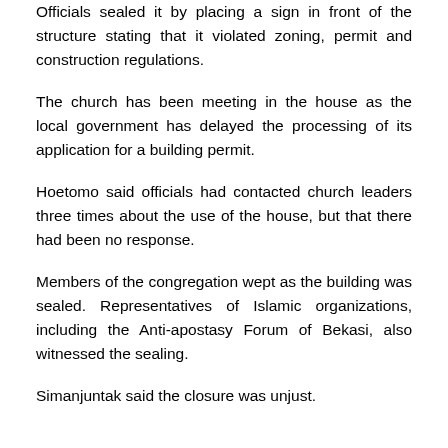Officials sealed it by placing a sign in front of the structure stating that it violated zoning, permit and construction regulations.
The church has been meeting in the house as the local government has delayed the processing of its application for a building permit.
Hoetomo said officials had contacted church leaders three times about the use of the house, but that there had been no response.
Members of the congregation wept as the building was sealed. Representatives of Islamic organizations, including the Anti-apostasy Forum of Bekasi, also witnessed the sealing.
Simanjuntak said the closure was unjust.